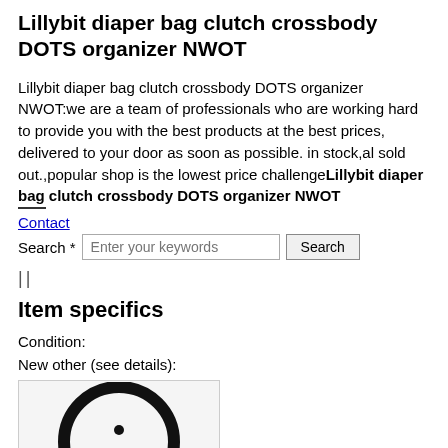Lillybit diaper bag clutch crossbody DOTS organizer NWOT
Lillybit diaper bag clutch crossbody DOTS organizer NWOT:we are a team of professionals who are working hard to provide you with the best products at the best prices, delivered to your door as soon as possible. in stock,al sold out.,popular shop is the lowest price challengeLillybit diaper bag clutch crossbody DOTS organizer NWOT
Contact
Search *
||
Item specifics
Condition:
New other (see details):
[Figure (photo): Product image showing a dark circular logo/label on a light background]